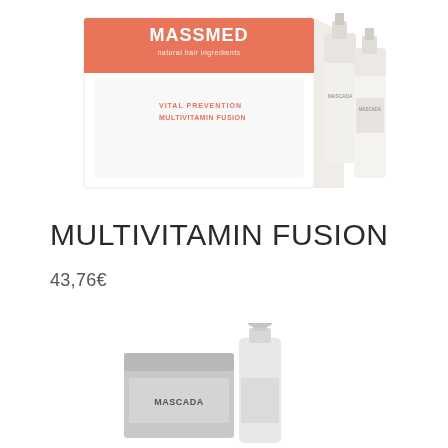[Figure (photo): Product photo of MASSMED Multivitamin Fusion box with vials/ampoules on a white background. Box is white and coral/salmon colored with text 'MASSMED natural hair ingredients', 'VITAL PREVENTION MULTIVITAMIN FUSION'. Two white bottles/vials are next to the box.]
MULTIVITAMIN FUSION
43,76€
[Figure (photo): Product photo of MASCADA cream jar and pump bottle/dispenser in gray/silver packaging on white background.]